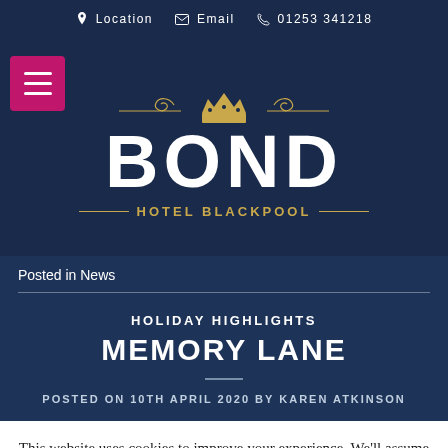Location  Email  01253 341218
[Figure (logo): Bond Hotel Blackpool logo with crown ornament, large BOND text and Hotel Blackpool subtitle in gold]
Posted in News
HOLIDAY HIGHLIGHTS
MEMORY LANE
POSTED ON 10TH APRIL 2020 BY KAREN ATKINSON
This website uses cookies to improve your experience. We'll assume you're ok with this, but you can opt-out if y...
Cookie settings  ACCEPT